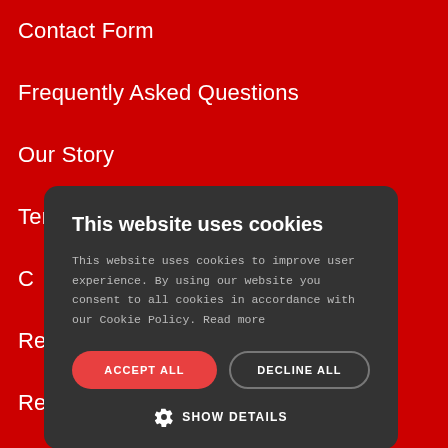Contact Form
Frequently Asked Questions
Our Story
Terms & Conditions
C…
Re…
Re…
Pa…
This website uses cookies
This website uses cookies to improve user experience. By using our website you consent to all cookies in accordance with our Cookie Policy. Read more
ACCEPT ALL
DECLINE ALL
SHOW DETAILS